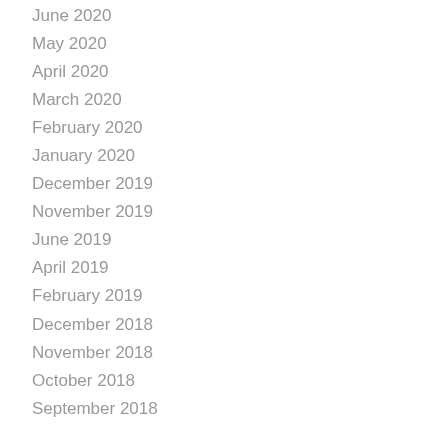June 2020
May 2020
April 2020
March 2020
February 2020
January 2020
December 2019
November 2019
June 2019
April 2019
February 2019
December 2018
November 2018
October 2018
September 2018